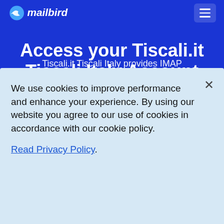mailbird (logo) — navigation header
Access your Tiscali.it Tiscali Italy Account from an Email Program using IMAP
Tiscali.it Tiscali Italy provides IMAP
We use cookies to improve performance and enhance your experience. By using our website you agree to our use of cookies in accordance with our cookie policy.
Read Privacy Policy.